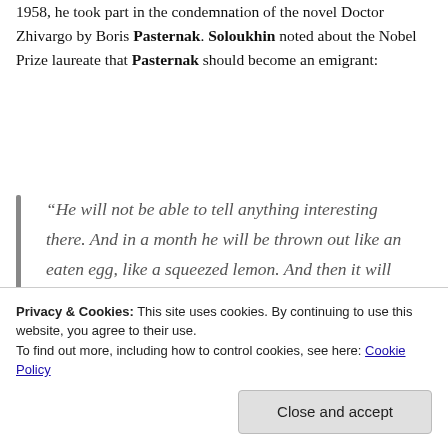1958, he took part in the condemnation of the novel Doctor Zhivargo by Boris Pasternak. Soloukhin noted about the Nobel Prize laureate that Pasternak should become an emigrant:
“He will not be able to tell anything interesting there. And in a month he will be thrown out like an eaten egg, like a squeezed lemon. And then it will be a real execution for the betrayal that he committed”
Privacy & Cookies: This site uses cookies. By continuing to use this website, you agree to their use.
To find out more, including how to control cookies, see here: Cookie Policy